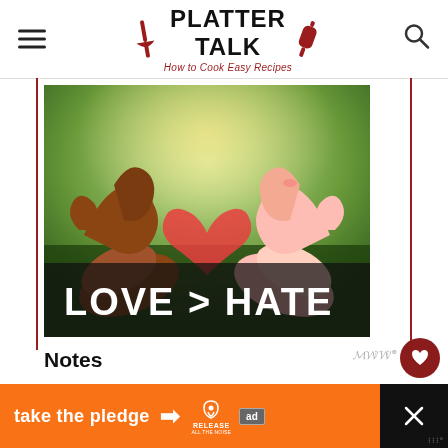PLATTER TALK — How to Cook Easy Recipes
[Figure (photo): Two hands of different skin tones forming a heart shape together, with green foliage in the background. Bold white text at the bottom reads LOVE > HATE.]
Notes
Substitute other fresh berries for the
[Figure (infographic): Orange and dark advertisement banner at the bottom: 'take the pledge' with an arrow, Release logo, and ad marker. Close button on right.]